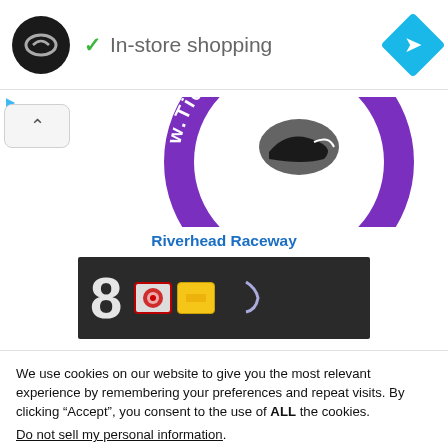[Figure (screenshot): Top navigation bar with circular logo icon, checkmark and 'In-store shopping' text, and a blue diamond navigation arrow icon on the right]
[Figure (logo): Partial circular purple and white TickMike logo with text 'w.TickMike.c' visible]
Riverhead Raceway
[Figure (photo): Dark/black racing car product close-up with large number 8, NASCAR-style stickers including a red circular badge and yellow rectangular badge]
We use cookies on our website to give you the most relevant experience by remembering your preferences and repeat visits. By clicking “Accept”, you consent to the use of ALL the cookies.
Do not sell my personal information.
Cookie Settings
Accept